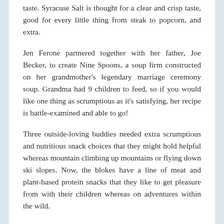taste. Syracuse Salt is thought for a clear and crisp taste, good for every little thing from steak to popcorn, and extra.
Jen Ferone partnered together with her father, Joe Becker, to create Nine Spoons, a soup firm constructed on her grandmother's legendary marriage ceremony soup. Grandma had 9 children to feed, so if you would like one thing as scrumptious as it's satisfying, her recipe is battle-examined and able to go!
Three outside-loving buddies needed extra scrumptious and nutritious snack choices that they might hold helpful whereas mountain climbing up mountains or flying down ski slopes. Now, the blokes have a line of meat and plant-based protein snacks that they like to get pleasure from with their children whereas on adventures within the wild.
After packing up their dad's knockout mix of 28 spices to promote in grocery shops, Dondre Anderson's daughters (Amina and Amari) had the nice thought to place the